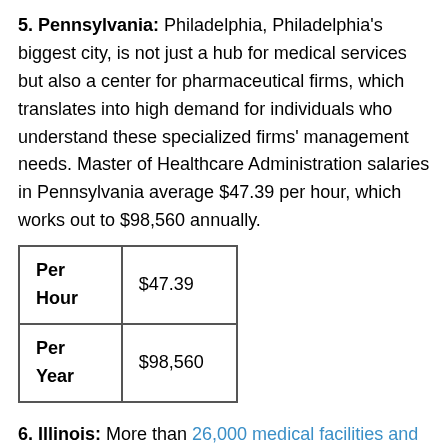5. Pennsylvania: Philadelphia, Philadelphia's biggest city, is not just a hub for medical services but also a center for pharmaceutical firms, which translates into high demand for individuals who understand these specialized firms' management needs. Master of Healthcare Administration salaries in Pennsylvania average $47.39 per hour, which works out to $98,560 annually.
| Per Hour | $47.39 |
| Per Year | $98,560 |
6. Illinois: More than 26,000 medical facilities and health-related businesses call Chicago home, making the Windy City an epicenter for the types of medical services that require seasoned management. Other parts of the state are more rural and have fewer opportunities. An MHA-prepared professional in Illinois can earn $60.26 per hour or $125,330 a year.